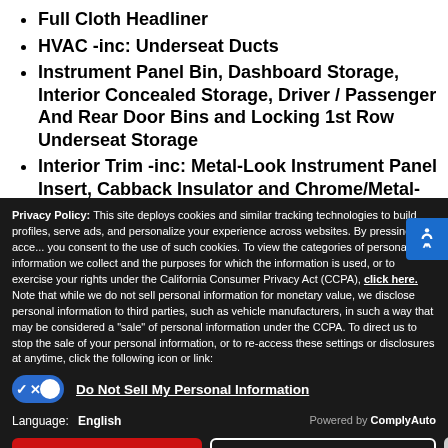Full Cloth Headliner
HVAC -inc: Underseat Ducts
Instrument Panel Bin, Dashboard Storage, Interior Concealed Storage, Driver / Passenger And Rear Door Bins and Locking 1st Row Underseat Storage
Interior Trim -inc: Metal-Look Instrument Panel Insert, Cabback Insulator and Chrome/Metal-Look Interior Accents
Locking Glove Box
Manual Adjustable Front Head Restraints and
Privacy Policy: This site deploys cookies and similar tracking technologies to build profiles, serve ads, and personalize your experience across websites. By pressing accept, you consent to the use of such cookies. To view the categories of personal information we collect and the purposes for which the information is used, or to exercise your rights under the California Consumer Privacy Act (CCPA), click here. Note that while we do not sell personal information for monetary value, we disclose personal information to third parties, such as vehicle manufacturers, in such a way that may be considered a "sale" of personal information under the CCPA. To direct us to stop the sale of your personal information, or to re-access these settings or disclosures at anytime, click the following icon or link:
Do Not Sell My Personal Information
Language: English
Powered by ComplyAuto
Accept and Continue → California Privacy Disclosures